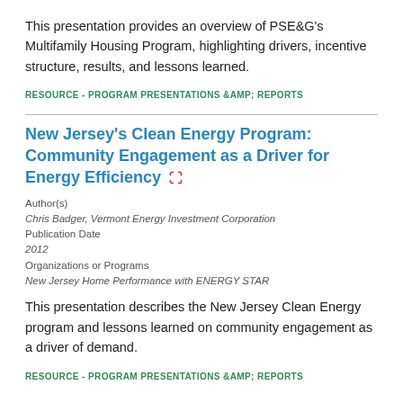This presentation provides an overview of PSE&G's Multifamily Housing Program, highlighting drivers, incentive structure, results, and lessons learned.
RESOURCE - PROGRAM PRESENTATIONS &AMP; REPORTS
New Jersey's Clean Energy Program: Community Engagement as a Driver for Energy Efficiency
Author(s)
Chris Badger, Vermont Energy Investment Corporation
Publication Date
2012
Organizations or Programs
New Jersey Home Performance with ENERGY STAR
This presentation describes the New Jersey Clean Energy program and lessons learned on community engagement as a driver of demand.
RESOURCE - PROGRAM PRESENTATIONS &AMP; REPORTS